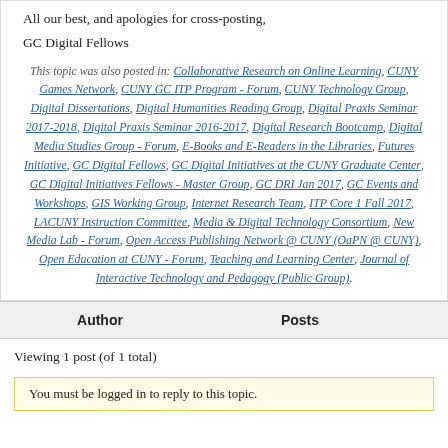All our best, and apologies for cross-posting,
GC Digital Fellows
This topic was also posted in: Collaborative Research on Online Learning, CUNY Games Network, CUNY GC ITP Program - Forum, CUNY Technology Group, Digital Dissertations, Digital Humanities Reading Group, Digital Praxis Seminar 2017-2018, Digital Praxis Seminar 2016-2017, Digital Research Bootcamp, Digital Media Studies Group - Forum, E-Books and E-Readers in the Libraries, Futures Initiative, GC Digital Fellows, GC Digital Initiatives at the CUNY Graduate Center, GC Digital Initiatives Fellows - Master Group, GC DRI Jan 2017, GC Events and Workshops, GIS Working Group, Internet Research Team, ITP Core 1 Fall 2017, LACUNY Instruction Committee, Media & Digital Technology Consortium, New Media Lab - Forum, Open Access Publishing Network @ CUNY (OaPN @ CUNY), Open Education at CUNY - Forum, Teaching and Learning Center, Journal of Interactive Technology and Pedagogy (Public Group).
| Author | Posts |
| --- | --- |
Viewing 1 post (of 1 total)
You must be logged in to reply to this topic.